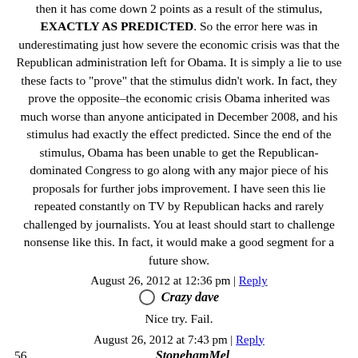then it has come down 2 points as a result of the stimulus, EXACTLY AS PREDICTED. So the error here was in underestimating just how severe the economic crisis was that the Republican administration left for Obama. It is simply a lie to use these facts to "prove" that the stimulus didn't work. In fact, they prove the opposite–the economic crisis Obama inherited was much worse than anyone anticipated in December 2008, and his stimulus had exactly the effect predicted. Since the end of the stimulus, Obama has been unable to get the Republican-dominated Congress to go along with any major piece of his proposals for further jobs improvement. I have seen this lie repeated constantly on TV by Republican hacks and rarely challenged by journalists. You at least should start to challenge nonsense like this. In fact, it would make a good segment for a future show.
August 26, 2012 at 12:36 pm | Reply
Crazy dave
Nice try. Fail.
August 26, 2012 at 7:43 pm | Reply
56. StonehamMel
You made a comment about the reporter who originally